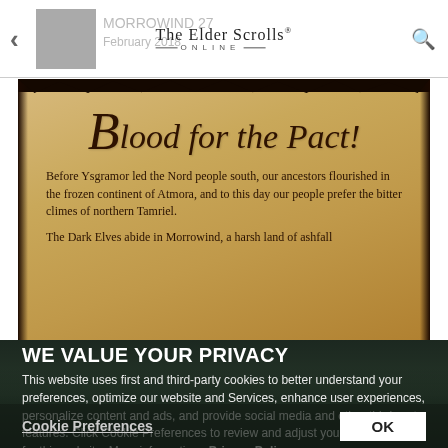The Elder Scrolls Online — MORROWIND 27 / February 2018
[Figure (illustration): Parchment scroll image with heading 'Blood for the Pact!' in medieval script, with body text: 'Before Ysgramor led the Nord people south, our ancestors flourished in the frozen continent of Atmora, and to this day our people prefer the bitter climes of northern Tamriel. The Dark Elves abide in Morrowind, a harsh land of ashfall']
WE VALUE YOUR PRIVACY
This website uses first and third-party cookies to better understand your preferences, optimize our website and Services, enhance user experiences, personalize content and ads, and provide social media and other third-party features. Click Cookie Preferences to review and adjust your preferences for this website. More information: Privacy Policy
Cookie Preferences   OK